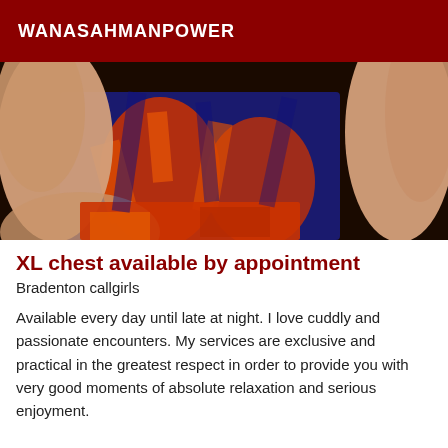WANASAHMANPOWER
[Figure (photo): Close-up photo showing skin tones with navy blue and orange patterned fabric in the background]
XL chest available by appointment
Bradenton callgirls
Available every day until late at night. I love cuddly and passionate encounters. My services are exclusive and practical in the greatest respect in order to provide you with very good moments of absolute relaxation and serious enjoyment.